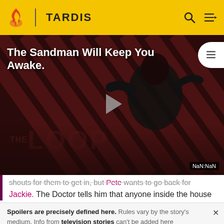TARDIS
[Figure (screenshot): Video thumbnail showing a dark-robed figure against diagonal red/dark stripe background with 'THE LOOP' text overlay and a play button in the center. Title reads 'The Sandman Will Keep You Awake.' and NaN:NaN timestamp badge in corner.]
shouts for them to get in, but Pete wants to go back for Jackie. The Doctor tells him that anyone inside the house
Spoilers are precisely defined here. Rules vary by the story's medium. Info from television stories can't be added here
READ MORE